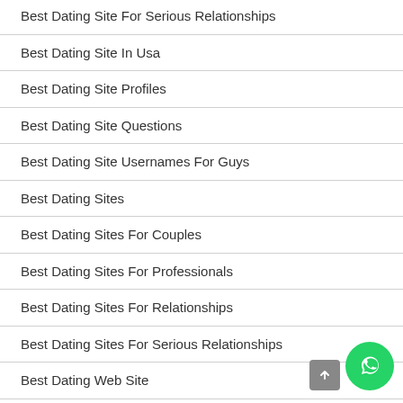Best Dating Site For Serious Relationships
Best Dating Site In Usa
Best Dating Site Profiles
Best Dating Site Questions
Best Dating Site Usernames For Guys
Best Dating Sites
Best Dating Sites For Couples
Best Dating Sites For Professionals
Best Dating Sites For Relationships
Best Dating Sites For Serious Relationships
Best Dating Web Site
Best Dating Web Sites
Best Dating Website For Professionals